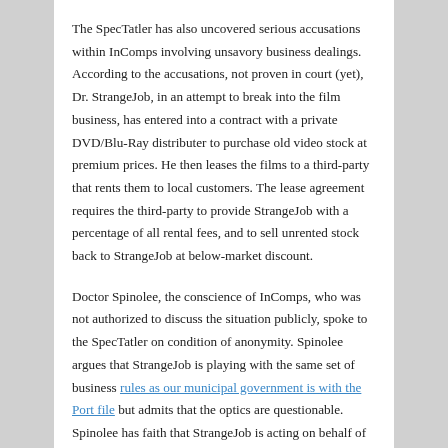The SpecTatler has also uncovered serious accusations within InComps involving unsavory business dealings. According to the accusations, not proven in court (yet), Dr. StrangeJob, in an attempt to break into the film business, has entered into a contract with a private DVD/Blu-Ray distributer to purchase old video stock at premium prices. He then leases the films to a third-party that rents them to local customers. The lease agreement requires the third-party to provide StrangeJob with a percentage of all rental fees, and to sell unrented stock back to StrangeJob at below-market discount.
Doctor Spinolee, the conscience of InComps, who was not authorized to discuss the situation publicly, spoke to the SpecTatler on condition of anonymity. Spinolee argues that StrangeJob is playing with the same set of business rules as our municipal government is with the Port file but admits that the optics are questionable. Spinolee has faith that StrangeJob is acting on behalf of InComps but is also calling for an “open and transparent” InComps meeting.
Wait, it gets worse!